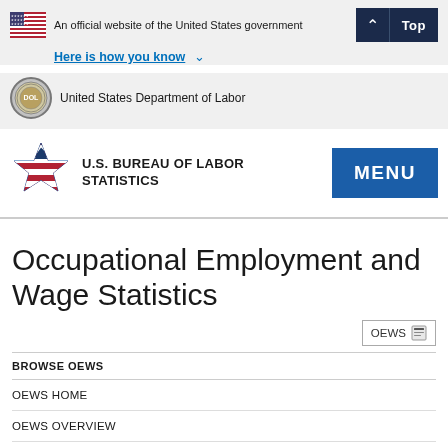An official website of the United States government
Here is how you know
United States Department of Labor
U.S. BUREAU OF LABOR STATISTICS
Occupational Employment and Wage Statistics
OEWS
BROWSE OEWS
OEWS HOME
OEWS OVERVIEW
OEWS NEWS RELEASES